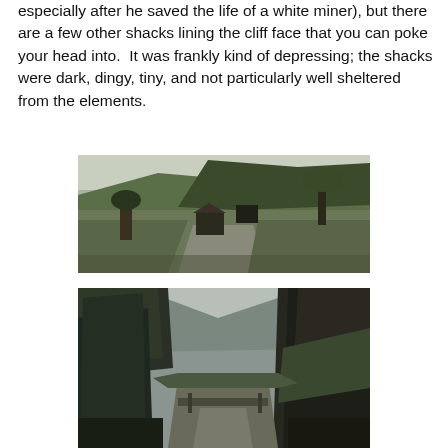especially after he saved the life of a white miner), but there are a few other shacks lining the cliff face that you can poke your head into.  It was frankly kind of depressing; the shacks were dark, dingy, tiny, and not particularly well sheltered from the elements.
[Figure (photo): Outdoor photograph showing small rustic shacks or shelters built into a cliff face or hillside, with trees and a winding path in the foreground. The scene appears to be in a wooded, hilly area with grey sky.]
[Figure (photo): Outdoor photograph showing a narrow path or lane with trees on the left side and a large dark cliff or rock face on the right side, with mountains visible in the background and overcast sky.]